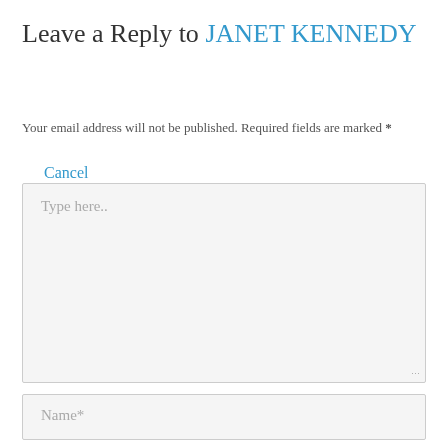Leave a Reply to JANET KENNEDY
Cancel Reply
Your email address will not be published. Required fields are marked *
[Figure (other): Large text area input field with placeholder text 'Type here..' and resize handle]
[Figure (other): Name input field with placeholder text 'Name*']